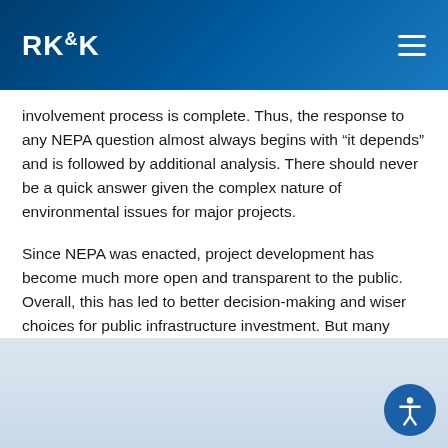RK&K
involvement process is complete. Thus, the response to any NEPA question almost always begins with “it depends” and is followed by additional analysis. There should never be a quick answer given the complex nature of environmental issues for major projects.
Since NEPA was enacted, project development has become much more open and transparent to the public. Overall, this has led to better decision-making and wiser choices for public infrastructure investment. But many projects, including interstate projects, face substantial opposition, legal scrutiny and regulatory challenges through NEPA.
[Figure (photo): Partial view of an image, appears to be a light blue/gray toned photograph, content mostly obscured]